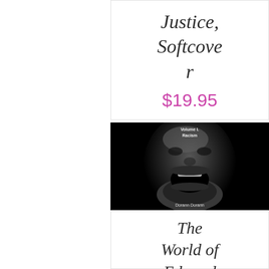Justice, Softcover
$19.95
[Figure (photo): Black and white photo of a person with mouth wide open screaming, dramatic lighting, against dark background. Text at top reads 'Volume I. Racism' and bottom shows author name.]
The World of Edward Givens